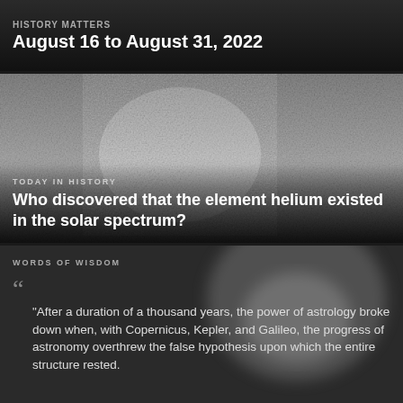History Matters
August 16 to August 31, 2022
[Figure (photo): Black and white grainy historical image, possibly a solar or astronomical photograph]
TODAY IN HISTORY
Who discovered that the element helium existed in the solar spectrum?
[Figure (photo): Dark blurred black and white portrait photograph background]
WORDS OF WISDOM
“After a duration of a thousand years, the power of astrology broke down when, with Copernicus, Kepler, and Galileo, the progress of astronomy overthrew the false hypothesis upon which the entire structure rested.